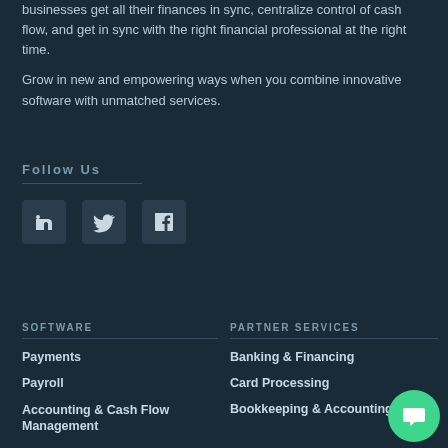businesses get all their finances in sync, centralize control of cash flow, and get in sync with the right financial professional at the right time.
Grow in new and empowering ways when you combine innovative software with unmatched services.
Follow Us
[Figure (logo): LinkedIn, Twitter, and Facebook social media icons in square boxes]
SOFTWARE
Payments
Payroll
Accounting & Cash Flow Management
PARTNER SERVICES
Banking & Financing
Card Processing
Bookkeeping & Accounting